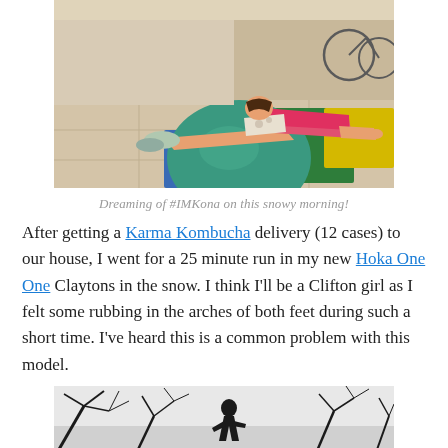[Figure (photo): Person doing a plank exercise on a large green exercise ball on colorful foam mats, with bicycles in background. Person wearing pink/green athletic clothes.]
Dreaming of #IMKona on this snowy morning!
After getting a Karma Kombucha delivery (12 cases) to our house, I went for a 25 minute run in my new Hoka One One Claytons in the snow. I think I'll be a Clifton girl as I felt some rubbing in the arches of both feet during such a short time. I've heard this is a common problem with this model.
[Figure (photo): Black and white photo of tree branches against sky with a silhouette of a person running.]